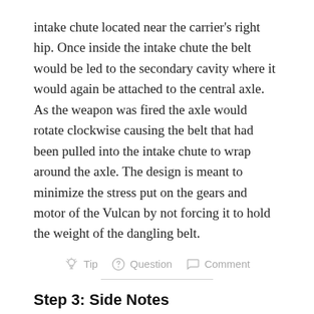intake chute located near the carrier's right hip. Once inside the intake chute the belt would be led to the secondary cavity where it would again be attached to the central axle. As the weapon was fired the axle would rotate clockwise causing the belt that had been pulled into the intake chute to wrap around the axle. The design is meant to minimize the stress put on the gears and motor of the Vulcan by not forcing it to hold the weight of the dangling belt.
[Figure (infographic): Row of interactive icons: lightbulb (Tip), question mark circle (Question), speech bubble (Comment)]
Step 3: Side Notes
I believe that, financially speaking, it would be wiser to attempt this build if one could also make the belt